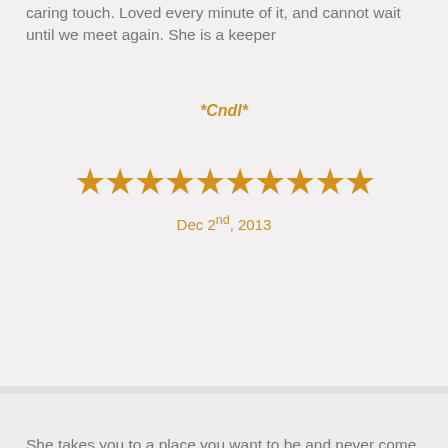caring touch. Loved every minute of it, and cannot wait until we meet again. She is a keeper
*Cndl*
[Figure (other): 10 gold/orange stars rating]
Dec 2nd, 2013
She takes you to a place you want to be and never come back...fasten your seat belt !!!
*dang*
[Figure (other): 10 gold/orange stars rating]
Mar 16th, 2013
An exceptional experience from a lovely person...